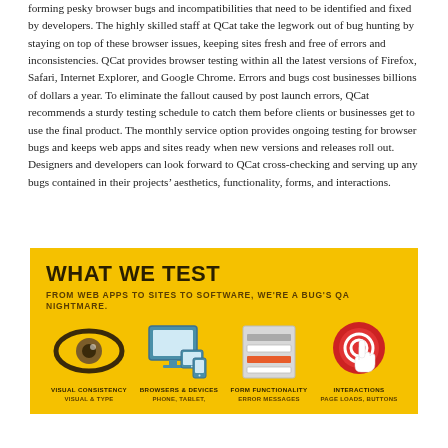forming pesky browser bugs and incompatibilities that need to be identified and fixed by developers. The highly skilled staff at QCat take the legwork out of bug hunting by staying on top of these browser issues, keeping sites fresh and free of errors and inconsistencies. QCat provides browser testing within all the latest versions of Firefox, Safari, Internet Explorer, and Google Chrome. Errors and bugs cost businesses billions of dollars a year. To eliminate the fallout caused by post launch errors, QCat recommends a sturdy testing schedule to catch them before clients or businesses get to use the final product. The monthly service option provides ongoing testing for browser bugs and keeps web apps and sites ready when new versions and releases roll out. Designers and developers can look forward to QCat cross-checking and serving up any bugs contained in their projects' aesthetics, functionality, forms, and interactions.
WHAT WE TEST
FROM WEB APPS TO SITES TO SOFTWARE, WE'RE A BUG'S QA NIGHTMARE.
[Figure (infographic): Four icons on yellow background: eye (Visual Consistency), monitor/tablet/phone (Browsers & Devices), form/document (Form Functionality), hand cursor with red target (Interactions). Each with label and sub-label below.]